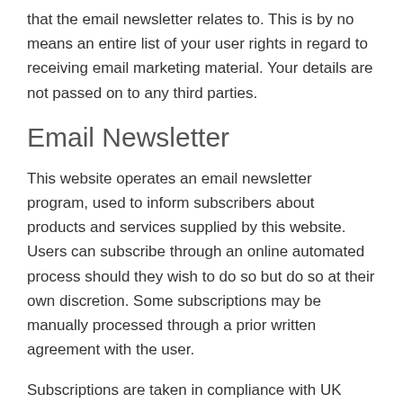that the email newsletter relates to. This is by no means an entire list of your user rights in regard to receiving email marketing material. Your details are not passed on to any third parties.
Email Newsletter
This website operates an email newsletter program, used to inform subscribers about products and services supplied by this website. Users can subscribe through an online automated process should they wish to do so but do so at their own discretion. Some subscriptions may be manually processed through a prior written agreement with the user.
Subscriptions are taken in compliance with UK Spam Laws detailed in the Privacy and Electronic